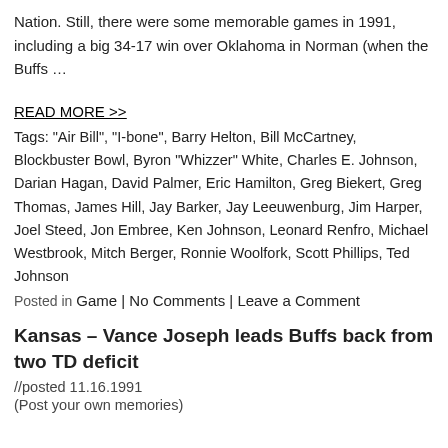Nation. Still, there were some memorable games in 1991, including a big 34-17 win over Oklahoma in Norman (when the Buffs …
READ MORE >>
Tags: "Air Bill", "I-bone", Barry Helton, Bill McCartney, Blockbuster Bowl, Byron "Whizzer" White, Charles E. Johnson, Darian Hagan, David Palmer, Eric Hamilton, Greg Biekert, Greg Thomas, James Hill, Jay Barker, Jay Leeuwenburg, Jim Harper, Joel Steed, Jon Embree, Ken Johnson, Leonard Renfro, Michael Westbrook, Mitch Berger, Ronnie Woolfork, Scott Phillips, Ted Johnson
Posted in Game | No Comments | Leave a Comment
Kansas – Vance Joseph leads Buffs back from two TD deficit
//posted 11.16.1991
(Post your own memories)